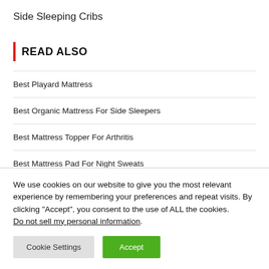Side Sleeping Cribs
READ ALSO
Best Playard Mattress
Best Organic Mattress For Side Sleepers
Best Mattress Topper For Arthritis
Best Mattress Pad For Night Sweats
We use cookies on our website to give you the most relevant experience by remembering your preferences and repeat visits. By clicking “Accept”, you consent to the use of ALL the cookies. Do not sell my personal information.